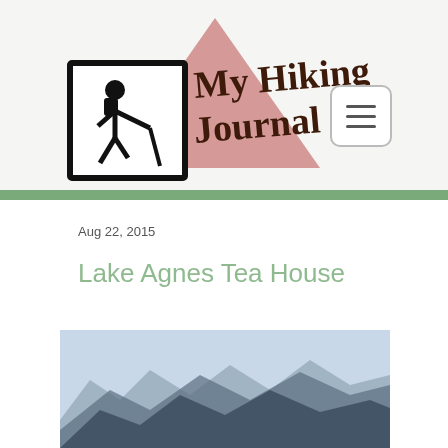[Figure (logo): My Hiking Journal logo with hiker icon, mountain triangle shape, and stylized text]
Aug 22, 2015
Lake Agnes Tea House
[Figure (photo): Mountain landscape photo showing rocky peaks against a hazy blue sky]